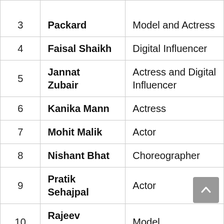| # | Name | Profession |
| --- | --- | --- |
| 3 | Packard | Model and Actress |
| 4 | Faisal Shaikh | Digital Influencer |
| 5 | Jannat Zubair | Actress and Digital Influencer |
| 6 | Kanika Mann | Actress |
| 7 | Mohit Malik | Actor |
| 8 | Nishant Bhat | Choreographer |
| 9 | Pratik Sehajpal | Actor |
| 10 | Rajeev Adatia | Model |
| 11 | Rubina Dilaik | Actress |